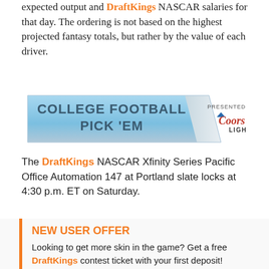expected output and DraftKings NASCAR salaries for that day. The ordering is not based on the highest projected fantasy totals, but rather by the value of each driver.
[Figure (logo): College Football Pick 'Em presented by Coors Light banner advertisement]
The DraftKings NASCAR Xfinity Series Pacific Office Automation 147 at Portland slate locks at 4:30 p.m. ET on Saturday.
Set your DraftKings fantasy NASCAR lineups here: NXS $75K Piston [$20K to 1st] (XFIN)
NEW USER OFFER
Looking to get more skin in the game? Get a free DraftKings contest ticket with your first deposit! Claim